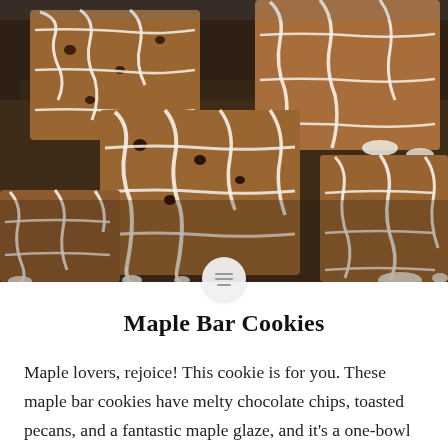[Figure (photo): Overhead photo of maple bar cookies with white glaze drizzled in a crosshatch pattern, arranged on parchment paper. Cookies are square brownie-like bars with melted glaze dripping down the sides.]
Maple Bar Cookies
Maple lovers, rejoice! This cookie is for you. These maple bar cookies have melty chocolate chips, toasted pecans, and a fantastic maple glaze, and it's a one-bowl recipe baked in a